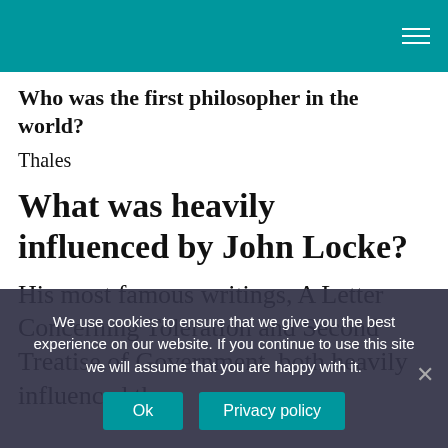Who was the first philosopher in the world?
Thales
What was heavily influenced by John Locke?
His most famous writings, A Letter Concerning Toleration and Second Treatise of Government, both heavily influenced the
We use cookies to ensure that we give you the best experience on our website. If you continue to use this site we will assume that you are happy with it.